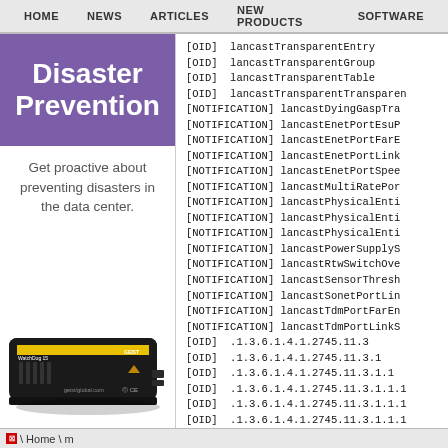HOME   NEWS   ARTICLES   NEW PRODUCTS   SOFTWARE
Disaster Prevention
Get proactive about preventing disasters in the data center.
[Figure (photo): Black rectangular network device with yellow stripe, WatchDog 15, geist/global branding]
[OID] lancastTransparentEntry
[OID] lancastTransparentGroup
[OID] lancastTransparentTable
[OID] lancastTransparentTransparen
[NOTIFICATION] lancastDyingGaspTra
[NOTIFICATION] lancastEnetPortEsuP
[NOTIFICATION] lancastEnetPortFarE
[NOTIFICATION] lancastEnetPortLink
[NOTIFICATION] lancastEnetPortSpee
[NOTIFICATION] lancastMultiRatePor
[NOTIFICATION] lancastPhysicalEnti
[NOTIFICATION] lancastPhysicalEnti
[NOTIFICATION] lancastPhysicalEnti
[NOTIFICATION] lancastPowerSupplyS
[NOTIFICATION] lancastRtwSwitchOve
[NOTIFICATION] lancastSensorThresh
[NOTIFICATION] lancastSonetPortLin
[NOTIFICATION] lancastTdmPortFarEn
[NOTIFICATION] lancastTdmPortLinkS
[OID] .1.3.6.1.4.1.2745.11.3
[OID] .1.3.6.1.4.1.2745.11.3.1
[OID] .1.3.6.1.4.1.2745.11.3.1.1
[OID] .1.3.6.1.4.1.2745.11.3.1.1.1
[OID] .1.3.6.1.4.1.2745.11.3.1.1.1
[OID] .1.3.6.1.4.1.2745.11.3.1.1.1
\ Home \ m